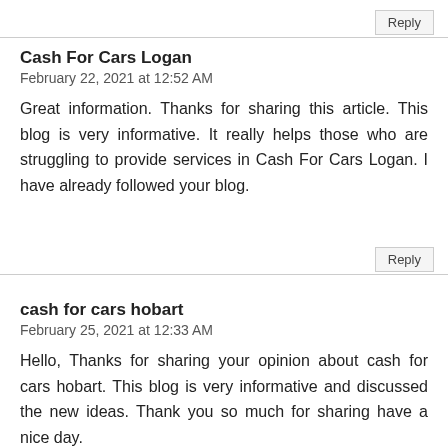Reply
Cash For Cars Logan
February 22, 2021 at 12:52 AM
Great information. Thanks for sharing this article. This blog is very informative. It really helps those who are struggling to provide services in Cash For Cars Logan. I have already followed your blog.
Reply
cash for cars hobart
February 25, 2021 at 12:33 AM
Hello, Thanks for sharing your opinion about cash for cars hobart. This blog is very informative and discussed the new ideas. Thank you so much for sharing have a nice day.